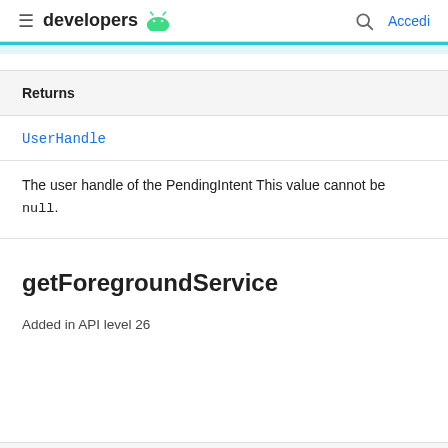developers  (Android logo)  Search  Accedi
Returns
UserHandle
The user handle of the PendingIntent This value cannot be null.
getForegroundService
Added in API level 26